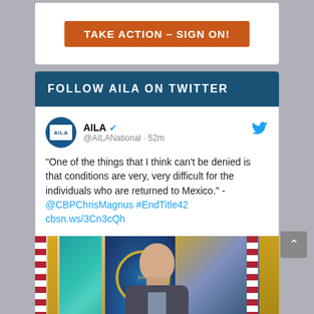[Figure (screenshot): Orange 'TAKE ACTION - SIGN ON!' call-to-action button on white card background]
FOLLOW AILA ON TWITTER
AILA @AILANational · 52m
"One of the things that I think can't be denied is that conditions are very, very difficult for the individuals who are returned to Mexico." - @CBPChrisMagnus #EndTitle42 cbsn.ws/3Cn3cQh
[Figure (photo): Photo of a bald man in suit standing in front of multiple government flags including US flag and DHS seal]